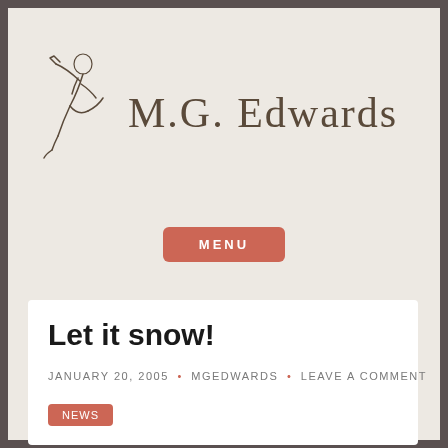[Figure (logo): M.G. Edwards blog header with a sketch illustration of a dancing figure on the left and stylized text 'M.G. Edwards' on the right]
MENU
Let it snow!
JANUARY 20, 2005 • MGEDWARDS • LEAVE A COMMENT
NEWS